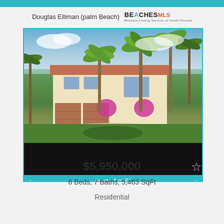Douglas Elliman (palm Beach) BEACHES MLS
[Figure (photo): Exterior photo of a luxury two-story Mediterranean-style home with red tile roof, double garage doors, pink bougainvillea flowers, palm trees, circular driveway, and lush green landscaping. Below the photo is a dark band, followed by a teal navigation bar reading Image 1 of 51 with left and right arrows.]
$5,950,000
6 Beds, 7 Baths, 5,463 SqFt
Residential